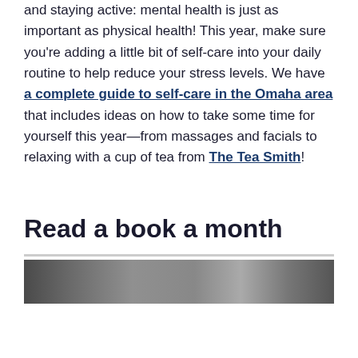and staying active: mental health is just as important as physical health! This year, make sure you're adding a little bit of self-care into your daily routine to help reduce your stress levels. We have a complete guide to self-care in the Omaha area that includes ideas on how to take some time for yourself this year—from massages and facials to relaxing with a cup of tea from The Tea Smith!
Read a book a month
[Figure (photo): Partial photo visible at the bottom of the page, appearing to show a dark/grayscale image related to reading or books]